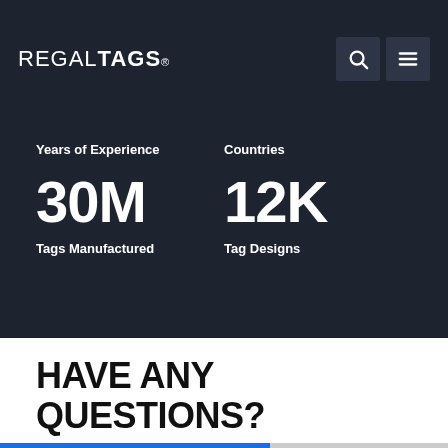REGAL TAGS®
Years of Experience
Countries
30M
12K
Tags Manufactured
Tag Designs
HAVE ANY QUESTIONS?